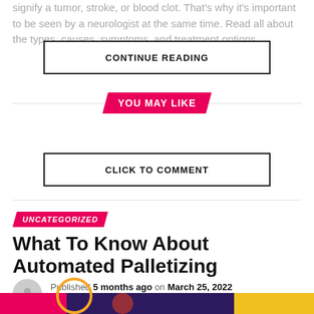signify a tumor, stroke, or blood clot. That's why it's important to be seen by a neurologist at the same time. Read all about the types, causes, symptoms, and treatment options.
CONTINUE READING
YOU MAY LIKE
CLICK TO COMMENT
UNCATEGORIZED
What To Know About Automated Palletizing
Published 5 months ago on March 25, 2022
By sophiajames